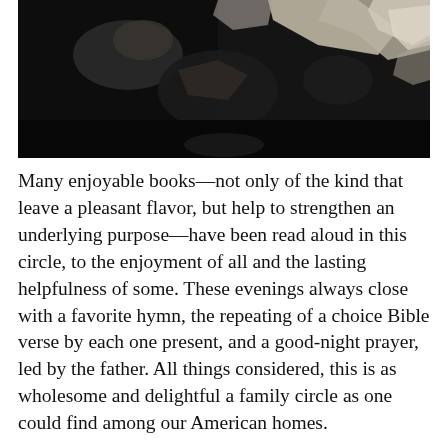[Figure (photo): A dark, vintage black-and-white photograph showing figures in motion against a dark background, with light-colored torn or scattered paper elements visible.]
Many enjoyable books—not only of the kind that leave a pleasant flavor, but help to strengthen an underlying purpose—have been read aloud in this circle, to the enjoyment of all and the lasting helpfulness of some. These evenings always close with a favorite hymn, the repeating of a choice Bible verse by each one present, and a good-night prayer, led by the father. All things considered, this is as wholesome and delightful a family circle as one could find among our American homes.
That is, until three or four weeks before Christmas. By that time the spirit of unrest steals into this home and